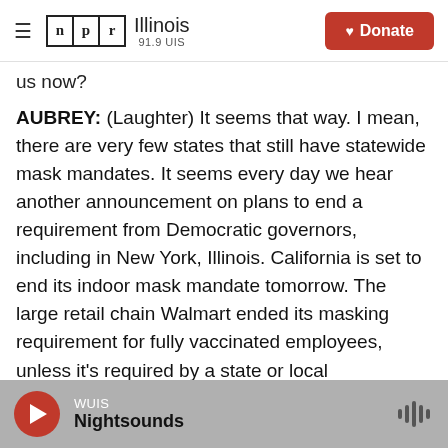NPR Illinois 91.9 UIS | Donate
us now?
AUBREY: (Laughter) It seems that way. I mean, there are very few states that still have statewide mask mandates. It seems every day we hear another announcement on plans to end a requirement from Democratic governors, including in New York, Illinois. California is set to end its indoor mask mandate tomorrow. The large retail chain Walmart ended its masking requirement for fully vaccinated employees, unless it's required by a state or local government. But lifting school mask mandates is turning out to be more controversial.
WUIS Nightsounds